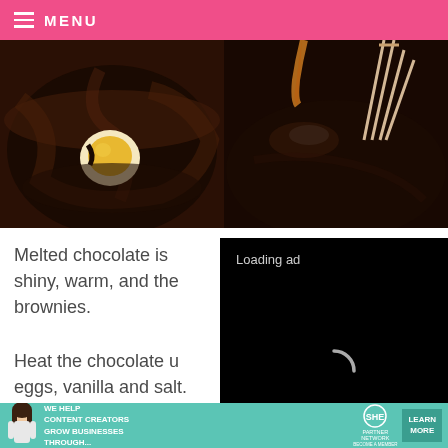MENU
[Figure (photo): Two side-by-side food photos showing chocolate brownie preparation: left photo shows an egg yolk dropped into dark melted chocolate in a bowl; right photo shows liquid being poured into a dark chocolate mixture with a whisk.]
Melted chocolate is shiny, warm, and the brownies.
[Figure (screenshot): Video player overlay with black background showing 'Loading ad' text and a spinner/loading icon, with media controls (pause, expand, mute) at the bottom.]
Heat the chocolate u eggs, vanilla and salt.
[Figure (infographic): Bottom advertisement banner for SHE Media Partner Network with teal background, text 'WE HELP CONTENT CREATORS GROW BUSINESSES THROUGH...' and a 'LEARN MORE' button.]